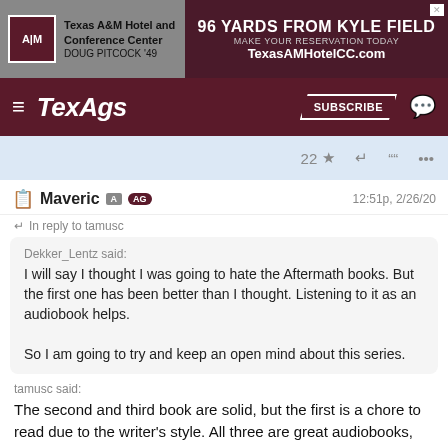[Figure (screenshot): Texas A&M Hotel and Conference Center advertisement banner. Left side shows logo with ATM initials and text 'Texas A&M Hotel and Conference Center DOUG PITCOCK '49'. Right side shows '96 YARDS FROM KYLE FIELD MAKE YOUR RESERVATION TODAY TexasAMHotelCC.com']
TexAgs SUBSCRIBE
22 ★ ↩ " ...
Maveric A AG	12:51p, 2/26/20
↩ In reply to tamusc
Dekker_Lentz said:
I will say I thought I was going to hate the Aftermath books. But the first one has been better than I thought. Listening to it as an audiobook helps.

So I am going to try and keep an open mind about this series.
tamusc said:
The second and third book are solid, but the first is a chore to read due to the writer's style. All three are great audiobooks, with the first being significantly better in that format.